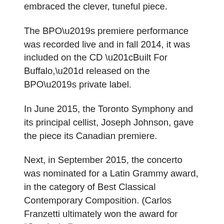embraced the clever, tuneful piece.
The BPO’s premiere performance was recorded live and in fall 2014, it was included on the CD “Built For Buffalo,” released on the BPO’s private label.
In June 2015, the Toronto Symphony and its principal cellist, Joseph Johnson, gave the piece its Canadian premiere.
Next, in September 2015, the concerto was nominated for a Latin Grammy award, in the category of Best Classical Contemporary Composition. (Carlos Franzetti ultimately won the award for “Capriccio.”)
And on Jan. 9, Falletta and Mekinulov took the concerto on the road. They performed it with the Albany Symphony Orchestra in Albany’s historic Palace Theatre. The BPO and the ASO are not strangers to each other. In January